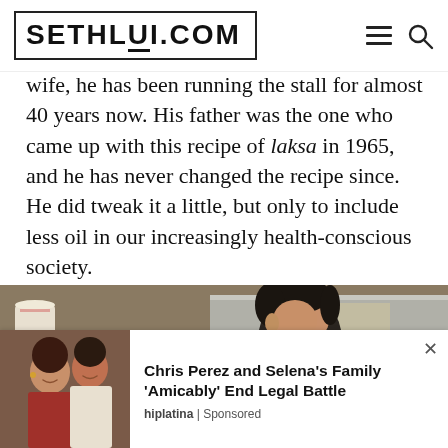SETHLUI.COM
wife, he has been running the stall for almost 40 years now. His father was the one who came up with this recipe of laksa in 1965, and he has never changed the recipe since. He did tweak it a little, but only to include less oil in our increasingly health-conscious society.
[Figure (photo): An elderly Asian man leaning over a food stall counter in a kitchen setting, with stacks of plates and metal shelving visible in the background.]
[Figure (photo): Advertisement image showing Chris Perez and Selena's Family photo]
Chris Perez and Selena's Family 'Amicably' End Legal Battle
hiplatina | Sponsored